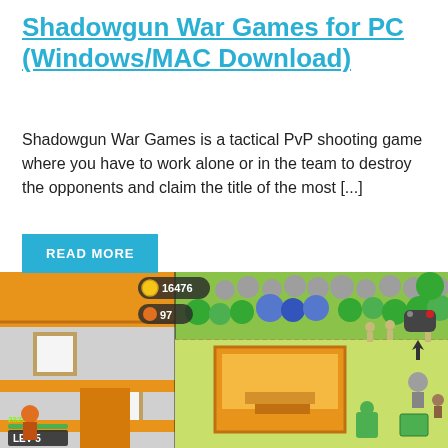Shadowgun War Games for PC (Windows/MAC Download)
Shadowgun War Games is a tactical PvP shooting game where you have to work alone or in the team to destroy the opponents and claim the title of the most [...]
[Figure (screenshot): Screenshot of a mobile/PC game showing a top-down view with buildings, characters, trees, and HUD elements including gold (16476), level indicator (97), and level 5 with experience bar]